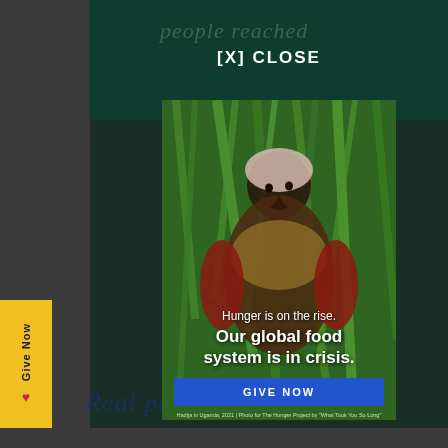people reached
[X] CLOSE
[Figure (photo): Woman in Uganda standing in a field of tall green sugarcane, wearing a floral head wrap and traditional clothing, looking at the camera. Overlaid text reads: 'Hunger is on the rise. Our global food system is in crisis.' with a blue GIVE NOW button. Caption: Hadija in Uganda, 2021 | Photo for The Hunger Project by "What Took You So Long"]
Real people. Real stories.
Give Now